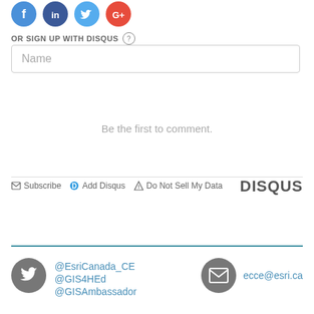[Figure (other): Social media icon buttons (partial, cropped at top): blue circle, dark blue circle, light blue circle, red circle]
OR SIGN UP WITH DISQUS ?
Name
Be the first to comment.
Subscribe   Add Disqus   Do Not Sell My Data   DISQUS
@EsriCanada_CE
@GIS4HEd
@GISAmbassador
ecce@esri.ca